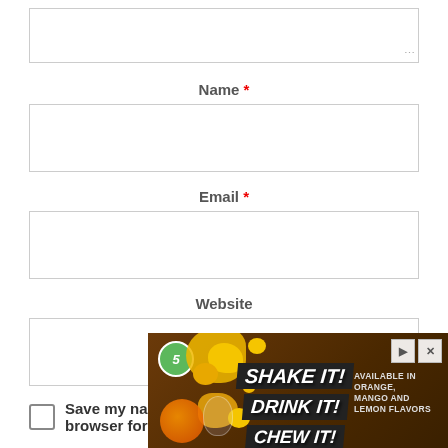[Figure (screenshot): Textarea input box (partially visible, top of page) with resize handle at bottom-right corner]
Name *
[Figure (screenshot): Empty text input box for Name field]
Email *
[Figure (screenshot): Empty text input box for Email field]
Website
[Figure (screenshot): Empty text input box for Website field]
Save my name, email, and website in this browser for
[Figure (infographic): Advertisement banner for '5' brand gum: SHAKE IT! DRINK IT! CHEW IT! Available in orange, mango and lemon flavors, with yellow splashing visual]